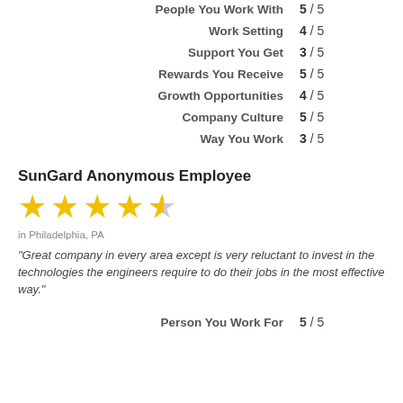People You Work With  5 / 5
Work Setting  4 / 5
Support You Get  3 / 5
Rewards You Receive  5 / 5
Growth Opportunities  4 / 5
Company Culture  5 / 5
Way You Work  3 / 5
SunGard Anonymous Employee
[Figure (other): 4.5 out of 5 stars rating — four full yellow stars and one half yellow/half gray star]
in Philadelphia, PA
"Great company in every area except is very reluctant to invest in the technologies the engineers require to do their jobs in the most effective way."
Person You Work For  5 / 5